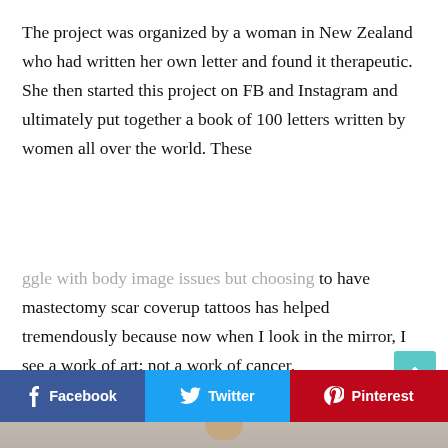The project was organized by a woman in New Zealand who had written her own letter and found it therapeutic. She then started this project on FB and Instagram and ultimately put together a book of 100 letters written by women all over the world. These
...gle with body image issues but choosing to have mastectomy scar coverup tattoos has helped tremendously because now when I look in the mirror, I see a work of art; not a work of cancer.
[Figure (other): Social share buttons: Facebook (blue), Twitter (cyan), Pinterest (red), Email (grey)]
[Figure (photo): Partial photo of a woman with short grey/brown hair at the bottom of the page]